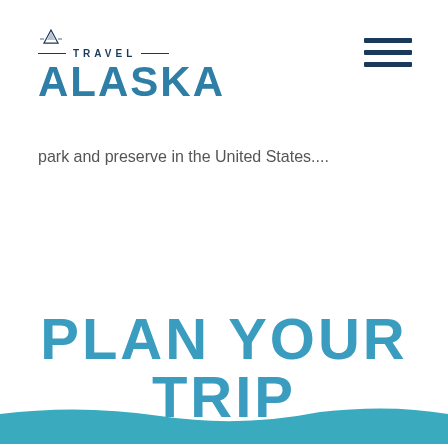[Figure (logo): Travel Alaska logo with mountain icon, horizontal lines, TRAVEL text, and ALASKA in large blue letters]
[Figure (other): Hamburger menu icon — three horizontal dark blue lines]
park and preserve in the United States....
PLAN YOUR TRIP
[Figure (illustration): Teal/blue wave or banner along the bottom edge of the page]